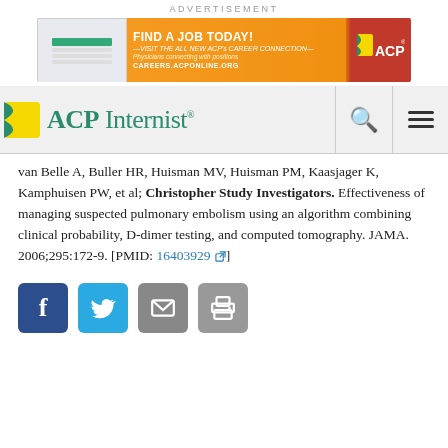ADVERTISEMENT
[Figure (illustration): ACP Career Connection advertisement banner: orange and red background with text 'FIND A JOB TODAY! VISIT THE ALL NEW ACP's CAREER CONNECTION - Physicians connecting with positions - CAREERS.ACPONLINE.ORG' and ACP logo on the right.]
[Figure (logo): ACP Internist logo with green leaf icon and green text reading 'ACP Internist', with search and menu navigation icons on the right.]
van Belle A, Buller HR, Huisman MV, Huisman PM, Kaasjager K, Kamphuisen PW, et al; Christopher Study Investigators. Effectiveness of managing suspected pulmonary embolism using an algorithm combining clinical probability, D-dimer testing, and computed tomography. JAMA. 2006;295:172-9. [PMID: 16403929]
[Figure (infographic): Four social sharing buttons: Facebook (blue), Twitter (light blue), Email (gray), Print (gray)]